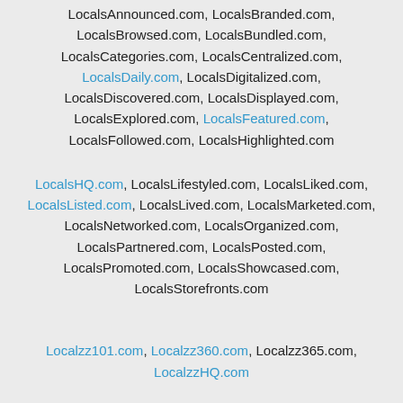LocalsAnnounced.com, LocalsBranded.com, LocalsBrowsed.com, LocalsBundled.com, LocalsCategories.com, LocalsCentralized.com, LocalsDaily.com, LocalsDigitalized.com, LocalsDiscovered.com, LocalsDisplayed.com, LocalsExplored.com, LocalsFeatured.com, LocalsFollowed.com, LocalsHighlighted.com
LocalsHQ.com, LocalsLifestyled.com, LocalsLiked.com, LocalsListed.com, LocalsLived.com, LocalsMarketed.com, LocalsNetworked.com, LocalsOrganized.com, LocalsPartnered.com, LocalsPosted.com, LocalsPromoted.com, LocalsShowcased.com, LocalsStorefronts.com
Localzz101.com, Localzz360.com, Localzz365.com, LocalzzHQ.com